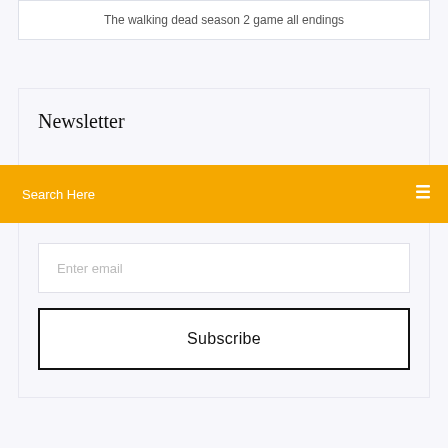The walking dead season 2 game all endings
Newsletter
Search Here
Enter email
Subscribe